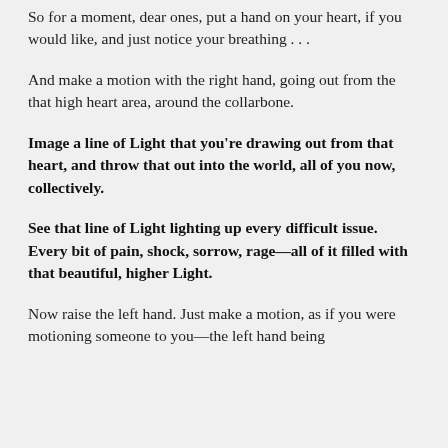So for a moment, dear ones, put a hand on your heart, if you would like, and just notice your breathing . . .
And make a motion with the right hand, going out from the that high heart area, around the collarbone.
Image a line of Light that you're drawing out from that heart, and throw that out into the world, all of you now, collectively.
See that line of Light lighting up every difficult issue. Every bit of pain, shock, sorrow, rage—all of it filled with that beautiful, higher Light.
Now raise the left hand. Just make a motion, as if you were motioning someone to you—the left hand being